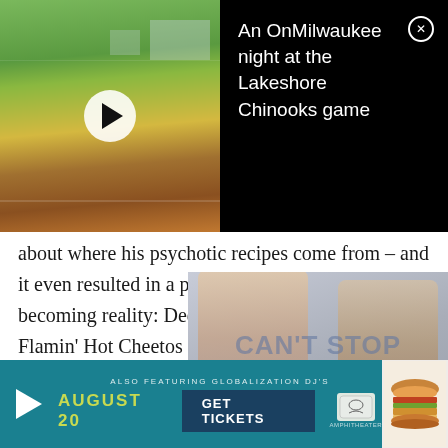[Figure (screenshot): Video thumbnail showing a baseball field with a white play button overlay, alongside a black panel with the text 'An OnMilwaukee night at the Lakeshore Chinooks game' and a close (X) button]
about where his psychotic recipes come from – and it even resulted in a psychotic recipe of my own becoming reality: Deep Fried Spaghettios in a Flamin' Hot Cheetos crust. I'm honored – and I'm so very sorry.
[Figure (screenshot): Concert advertisement overlay for 'Can't Stop Us Now 2022' featuring Iggy Azalea with two people posing. Bottom banner shows 'August 20', 'GET TICKETS', and amphitheater logo on teal background.]
A crazy culinary chat with Nick Chipman of Dude Foods